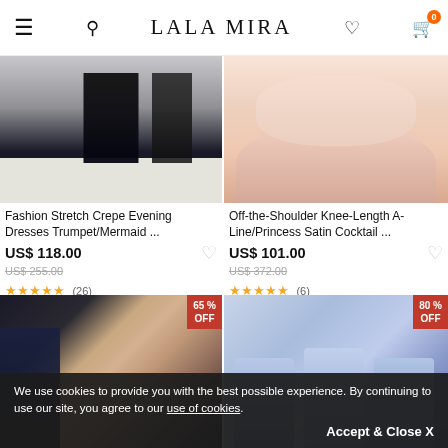LaLa Mira
[Figure (photo): Black evening dress on model near mirror]
[Figure (photo): Pink off-the-shoulder satin cocktail dress close-up]
Fashion Stretch Crepe Evening Dresses Trumpet/Mermaid ...
Off-the-Shoulder Knee-Length A-Line/Princess Satin Cocktail ...
US$ 118.00
US$ 255.00
★★★★★ (26)
US$ 101.00
US$ 372.00
★★★★★ (6)
[Figure (photo): Dark navy lace dress on model, 65% OFF badge]
[Figure (photo): Three women in blue lace dresses with tiaras, 80% OFF badge]
We use cookies to provide you with the best possible experience. By continuing to use our site, you agree to our use of cookies.
Accept & Close X